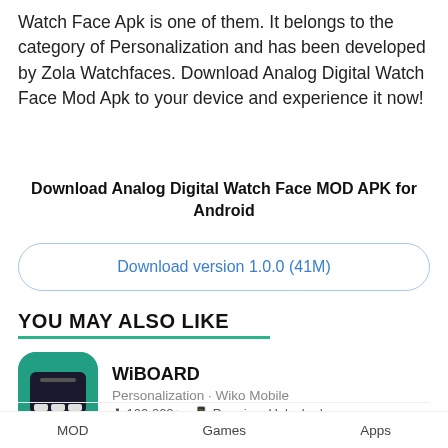Watch Face Apk is one of them. It belongs to the category of Personalization and has been developed by Zola Watchfaces. Download Analog Digital Watch Face Mod Apk to your device and experience it now!
Download Analog Digital Watch Face MOD APK for Android
Download version 1.0.0 (41M)
YOU MAY ALSO LIKE
WiBOARD
Personalization · Wiko Mobile
⬇ 100,000+  📱 Premium Unlocked
Victory World-Real Life
MOD   Games   Apps